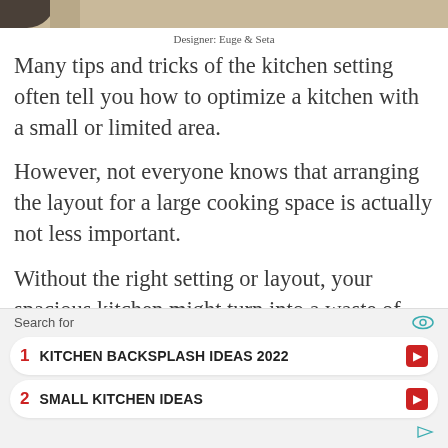[Figure (photo): Partial view of a kitchen photo at the top of the page, showing a strip of the image.]
Designer: Euge & Seta
Many tips and tricks of the kitchen setting often tell you how to optimize a kitchen with a small or limited area.
However, not everyone knows that arranging the layout for a large cooking space is actually not less important.
Without the right setting or layout, your spacious kitchen might turn into a waste of space.
[Figure (infographic): Advertisement search widget with two items: 1. KITCHEN BACKSPLASH IDEAS 2022, 2. SMALL KITCHEN IDEAS]